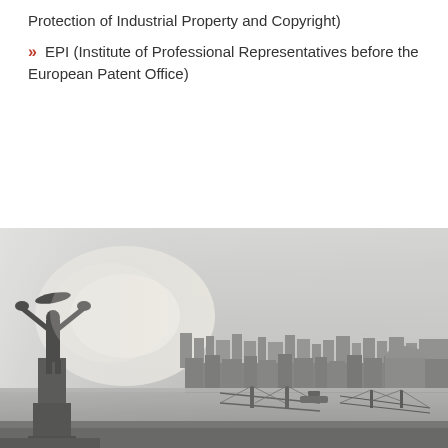Protection of Industrial Property and Copyright)
» EPI (Institute of Professional Representatives before the European Patent Office)
[Figure (photo): Black and white aerial photograph of Budapest cityscape with Liberty Statue in the foreground, Danube river, and bridges visible in the background.]